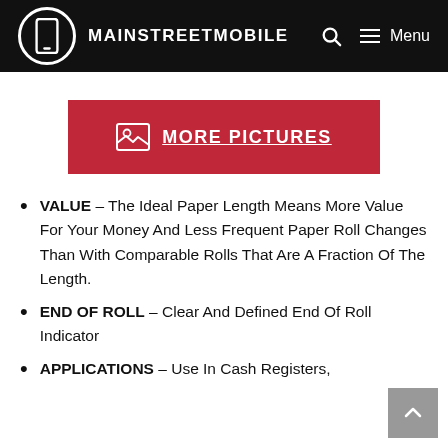MAINSTREETMOBILE
[Figure (other): Red button with image icon and text 'MORE PICTURES']
VALUE – The Ideal Paper Length Means More Value For Your Money And Less Frequent Paper Roll Changes Than With Comparable Rolls That Are A Fraction Of The Length.
END OF ROLL – Clear And Defined End Of Roll Indicator
APPLICATIONS – Use In Cash Registers,